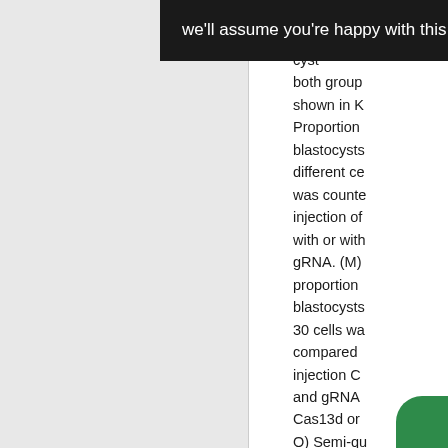we'll assume you're happy with this. More information
both group shown in K Proportion blastocysts different ce was counte injection of with or with gRNA. (M) proportion blastocysts 30 cells wa compared injection C and gRNA Cas13d or O) Semi-qu PCR analy expression genes and